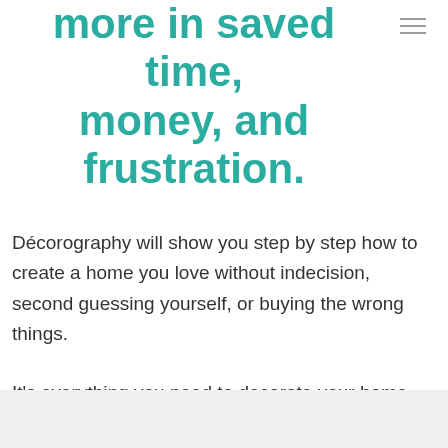more in saved time, money, and frustration.
Décorography will show you step by step how to create a home you love without indecision, second guessing yourself, or buying the wrong things.
It's everything you need to decorate your home from top to bottom.